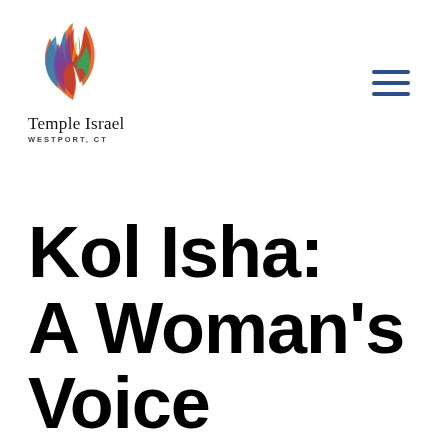[Figure (logo): Temple Israel Westport CT logo — colorful flame/leaf shapes in orange, red, blue, purple, green]
Temple Israel
WESTPORT, CT
Kol Isha: A Woman's Voice In Jewish Tradition